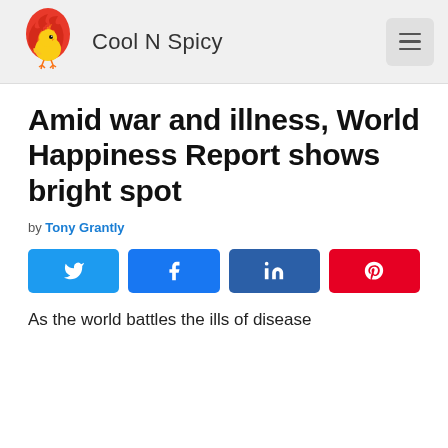Cool N Spicy
Amid war and illness, World Happiness Report shows bright spot
by Tony Grantly
[Figure (infographic): Social share buttons row: Twitter, Facebook, LinkedIn, Pinterest]
As the world battles the ills of disease